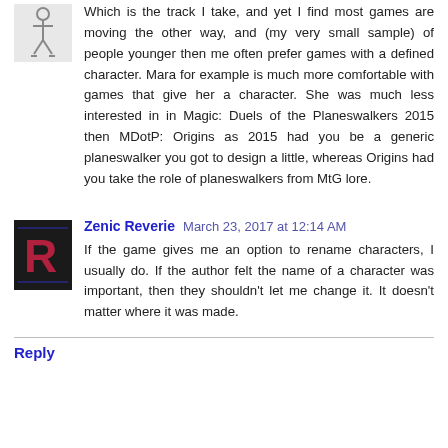Which is the track I take, and yet I find most games are moving the other way, and (my very small sample) of people younger then me often prefer games with a defined character. Mara for example is much more comfortable with games that give her a character. She was much less interested in in Magic: Duels of the Planeswalkers 2015 then MDotP: Origins as 2015 had you be a generic planeswalker you got to design a little, whereas Origins had you take the role of planeswalkers from MtG lore.
Zenic Reverie March 23, 2017 at 12:14 AM
If the game gives me an option to rename characters, I usually do. If the author felt the name of a character was important, then they shouldn't let me change it. It doesn't matter where it was made.
Reply